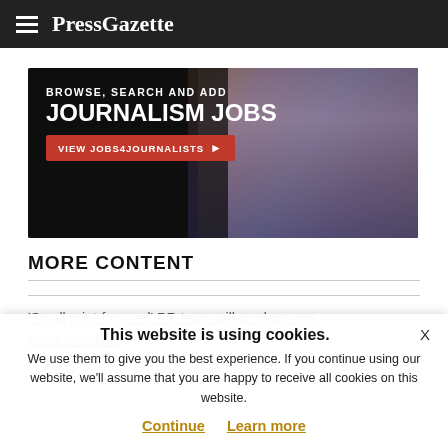PressGazette
[Figure (infographic): Advertisement banner: BROWSE, SEARCH AND ADD JOURNALISM JOBS – VIEW JOBS4JOURNALISTS button, with woman in background]
MORE CONTENT
'Small print-focused' PR team will produce one
shifts to online
This website is using cookies. We use them to give you the best experience. If you continue using our website, we'll assume that you are happy to receive all cookies on this website.
Continue   Learn more